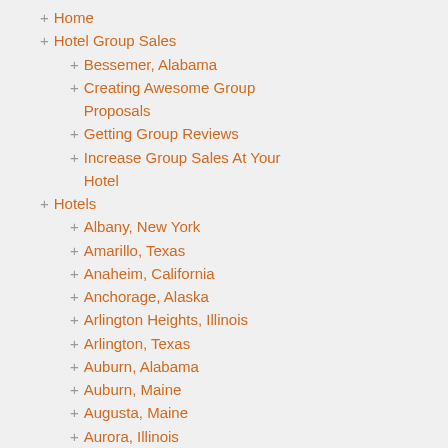+ Home
+ Hotel Group Sales
+ Bessemer, Alabama
+ Creating Awesome Group Proposals
+ Getting Group Reviews
+ Increase Group Sales At Your Hotel
+ Hotels
+ Albany, New York
+ Amarillo, Texas
+ Anaheim, California
+ Anchorage, Alaska
+ Arlington Heights, Illinois
+ Arlington, Texas
+ Auburn, Alabama
+ Auburn, Maine
+ Augusta, Maine
+ Aurora, Illinois
+ Austin, Texas
+ Bakersfield, California
+ Bangor, Maine
+ Bar Harbor, Maine
+ Bennington, Vermont
+ Birmingham, Alabama